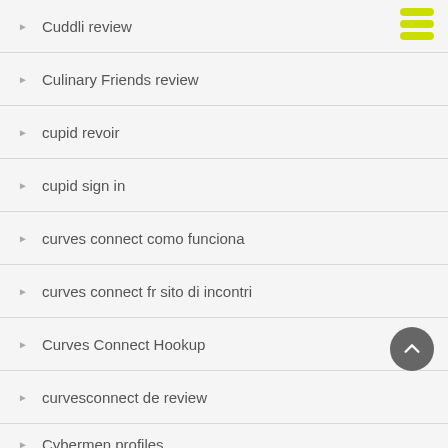Cuddli review
Culinary Friends review
cupid revoir
cupid sign in
curves connect como funciona
curves connect fr sito di incontri
Curves Connect Hookup
curvesconnect de review
Cybermen profiles